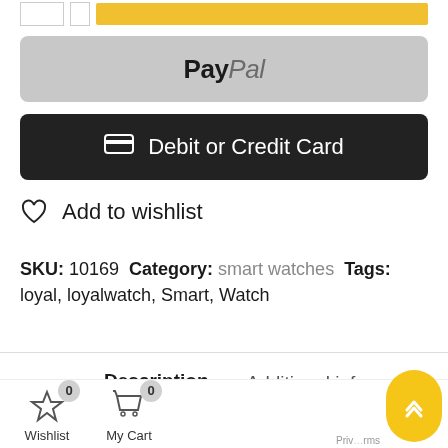[Figure (screenshot): PayPal payment button (gray rounded rectangle with PayPal logo text)]
[Figure (screenshot): Debit or Credit Card payment button (dark/black rounded rectangle with card icon and text)]
Add to wishlist
SKU: 10169  Category: smart watches  Tags: loyal, loyalwatch, Smart, Watch
Description
Additional information
eviews (0)
[Figure (screenshot): Bottom navigation bar with Wishlist (star icon, badge 0) and My Cart (basket icon, badge 0) widgets, and a yellow scroll-to-top button]